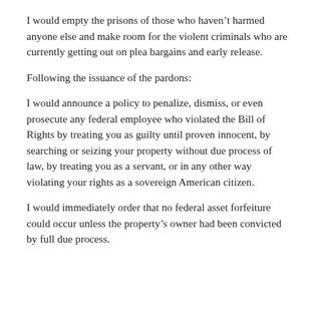I would empty the prisons of those who haven't harmed anyone else and make room for the violent criminals who are currently getting out on plea bargains and early release.
Following the issuance of the pardons:
I would announce a policy to penalize, dismiss, or even prosecute any federal employee who violated the Bill of Rights by treating you as guilty until proven innocent, by searching or seizing your property without due process of law, by treating you as a servant, or in any other way violating your rights as a sovereign American citizen.
I would immediately order that no federal asset forfeiture could occur unless the property's owner had been convicted by full due process.